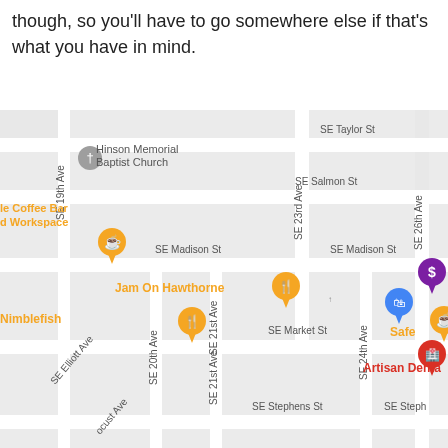though, so you'll have to go somewhere else if that's what you have in mind.
[Figure (map): Google Maps street map showing SE Portland neighborhood with streets SE Taylor St, SE Salmon St, SE Madison St, SE Market St, SE Stephens St, SE 19th Ave, SE 20th Ave, SE 21st Ave, SE 23rd Ave, SE 24th Ave, SE 26th Ave, SE Elliott Ave. Businesses shown: Hinson Memorial Baptist Church, le Coffee Bar d Workspace (coffee pin), Jam On Hawthorne (restaurant pin), Nimblefish (restaurant pin), Artisan Dental (red pin), Safe (yellow pin), blue shopping pin, purple dollar-sign pin.]